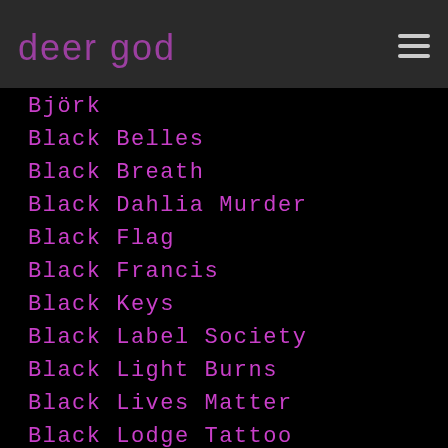deer god
Björk
Black Belles
Black Breath
Black Dahlia Murder
Black Flag
Black Francis
Black Keys
Black Label Society
Black Light Burns
Black Lives Matter
Black Lodge Tattoo
Black Market Baby
Black Metal
Black Milk
Black Moon
Black Rebel Motorcycle Club
Black Sabbath